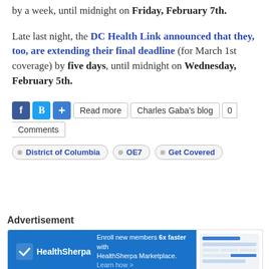by a week, until midnight on Friday, February 7th.
Late last night, the DC Health Link announced that they, too, are extending their final deadline (for March 1st coverage) by five days, until midnight on Wednesday, February 5th.
Read more | Charles Gaba's blog | 0 Comments
District of Columbia
OE7
Get Covered
Advertisement
[Figure (infographic): HealthSherpa advertisement banner: blue background with HealthSherpa logo and text 'Enroll new members 6x faster with HealthSherpa Marketplace. Learn how >' alongside a screenshot of the platform interface.]